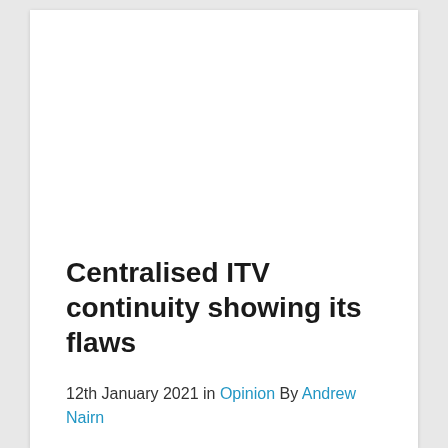Centralised ITV continuity showing its flaws
12th January 2021 in Opinion By Andrew Nairn